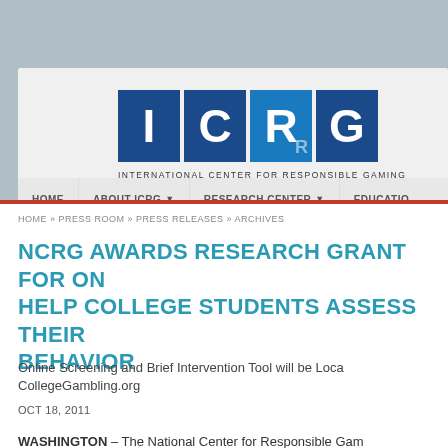[Figure (logo): ICRG logo with four colored square tiles spelling I, C, R, G and tagline INTERNATIONAL CENTER FOR RESPONSIBLE GAMING]
HOME  ABOUT ICRG  RESEARCH CENTER  EDUCATIO
HOME » PRESS ROOM » PRESS RELEASES » ARCHIVES
NCRG AWARDS RESEARCH GRANT FOR ON... HELP COLLEGE STUDENTS ASSESS THEIR... BEHAVIOR
Online Screening and Brief Intervention Tool will be Loca... CollegeGambling.org
OCT 18, 2011
WASHINGTON – The National Center for Responsible Gam...